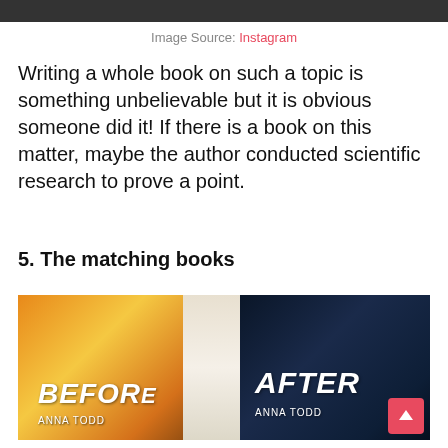[Figure (photo): Top portion of a photo (cropped), dark background]
Image Source: Instagram
Writing a whole book on such a topic is something unbelievable but it is obvious someone did it! If there is a book on this matter, maybe the author conducted scientific research to prove a point.
5. The matching books
[Figure (photo): Two people reading books side by side — one holding 'BEFORE' by Anna Todd (orange cover), the other holding 'AFTER' by Anna Todd (dark blue cover). A scroll-to-top button is visible in the bottom right corner.]